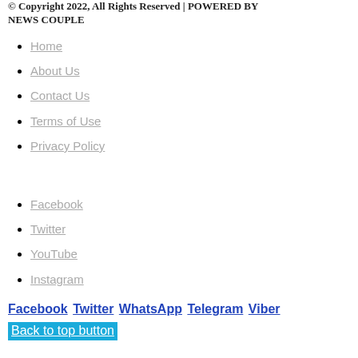© Copyright 2022, All Rights Reserved | POWERED BY NEWS COUPLE
Home
About Us
Contact Us
Terms of Use
Privacy Policy
Facebook
Twitter
YouTube
Instagram
Facebook Twitter WhatsApp Telegram Viber
Back to top button